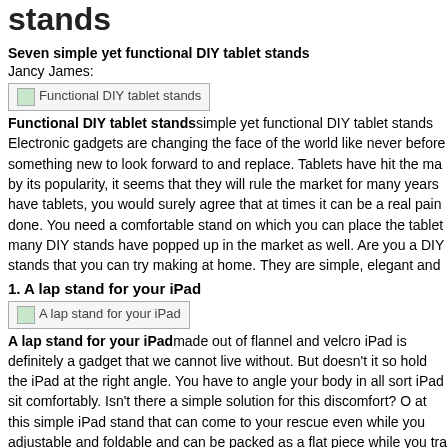stands
Seven simple yet functional DIY tablet stands
Jancy James:
[Figure (photo): Functional DIY tablet stands image placeholder]
Functional DIY tablet standssimple yet functional DIY tablet stands Electronic gadgets are changing the face of the world like never before something new to look forward to and replace. Tablets have hit the ma by its popularity, it seems that they will rule the market for many years have tablets, you would surely agree that at times it can be a real pain done. You need a comfortable stand on which you can place the tablet many DIY stands have popped up in the market as well. Are you a DIY stands that you can try making at home. They are simple, elegant and
1. A lap stand for your iPad
[Figure (photo): A lap stand for your iPad image placeholder]
A lap stand for your iPadmade out of flannel and velcro iPad is definitely a gadget that we cannot live without. But doesn't it so hold the iPad at the right angle. You have to angle your body in all sort iPad sit comfortably. Isn't there a simple solution for this discomfort? O at this simple iPad stand that can come to your rescue even while you adjustable and foldable and can be packed as a flat piece while you tra